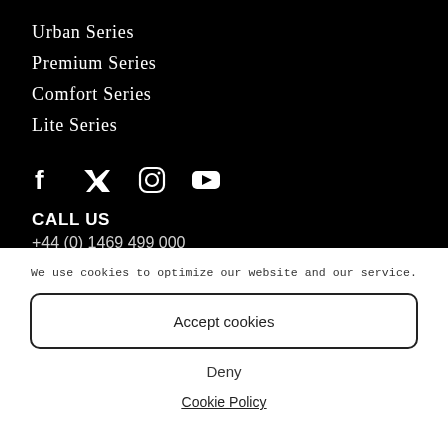Urban Series
Premium Series
Comfort Series
Lite Series
[Figure (other): Social media icons: Facebook, Twitter, Instagram, YouTube]
CALL US
+44 (0) 1469 499 000
We use cookies to optimize our website and our service.
Accept cookies
Deny
Cookie Policy